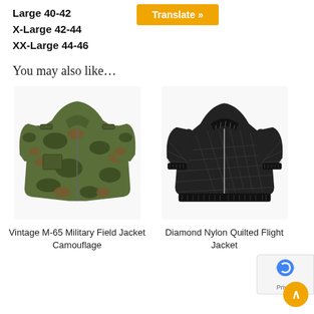Large 40-42
X-Large 42-44
XX-Large 44-46
You may also like…
[Figure (photo): Vintage M-65 Military Field Jacket Camouflage - woodland camouflage military jacket with multiple pockets]
Vintage M-65 Military Field Jacket Camouflage
[Figure (photo): Diamond Nylon Quilted Flight Jacket - black quilted bomber jacket with zip front]
Diamond Nylon Quilted Flight Jacket